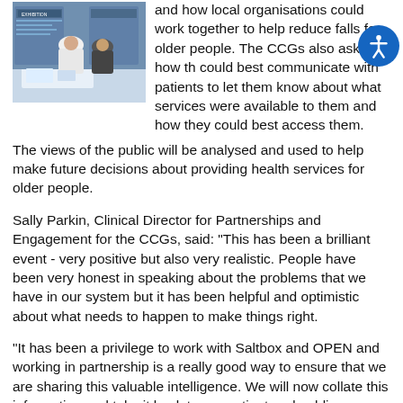[Figure (photo): Photo of people at an event or exhibition, seen from behind, with display boards in the background.]
and how local organisations could work together to help reduce falls for older people. The CCGs also asked how they could best communicate with patients to let them know about what services were available to them and how they could best access them.
The views of the public will be analysed and used to help make future decisions about providing health services for older people.
Sally Parkin, Clinical Director for Partnerships and Engagement for the CCGs, said: "This has been a brilliant event - very positive but also very realistic. People have been very honest in speaking about the problems that we have in our system but it has been helpful and optimistic about what needs to happen to make things right.
"It has been a privilege to work with Saltbox and OPEN and working in partnership is a really good way to ensure that we are sharing this valuable intelligence. We will now collate this information and take it back to our patient and public involvement groups and will create actions based upon what